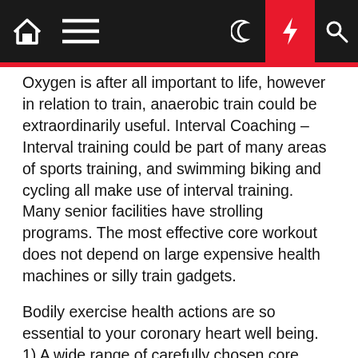Navigation bar with home, menu, moon, lightning, and search icons
Oxygen is after all important to life, however in relation to train, anaerobic train could be extraordinarily useful. Interval Coaching – Interval training could be part of many areas of sports training, and swimming biking and cycling all make use of interval training. Many senior facilities have strolling programs. The most effective core workout does not depend on large expensive health machines or silly train gadgets.
Bodily exercise health actions are so essential to your coronary heart well being. 1) A wide range of carefully chosen core workouts that provide the TOTAL midsection and core with the proper stimulus to grow to be lean, outlined, flat, sturdy and solid. This is also a very good part of a fitness and wellness program for individuals who want to